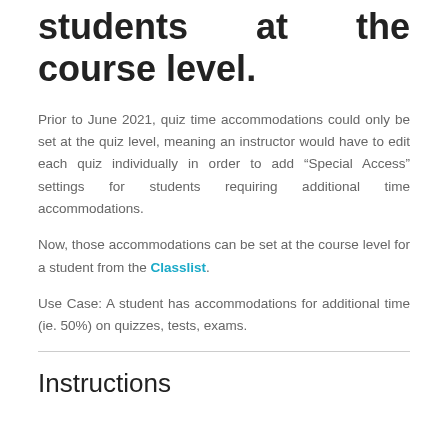students at the course level.
Prior to June 2021, quiz time accommodations could only be set at the quiz level, meaning an instructor would have to edit each quiz individually in order to add “Special Access” settings for students requiring additional time accommodations.
Now, those accommodations can be set at the course level for a student from the Classlist.
Use Case: A student has accommodations for additional time (ie. 50%) on quizzes, tests, exams.
Instructions